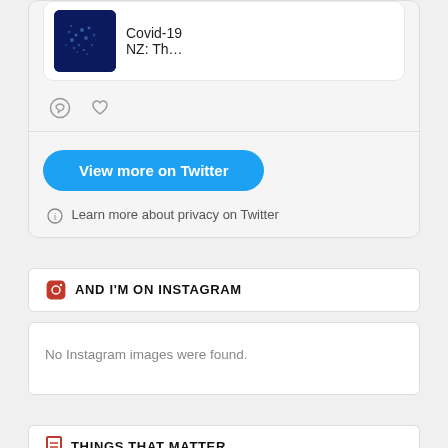[Figure (screenshot): Partial Twitter widget showing a tweet card with dark blue image thumbnail and text 'Covid-19 NZ: Th…', comment and heart icons below.]
View more on Twitter
Learn more about privacy on Twitter
AND I'M ON INSTAGRAM
No Instagram images were found.
THINGS THAT MATTER